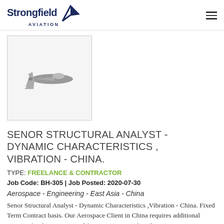Strongfield Aviation
[Figure (illustration): Fighter jet silhouette icon in gray on light gray background]
SENOR STRUCTURAL ANALYST - DYNAMIC CHARACTERISTICS , VIBRATION - CHINA.
TYPE: FREELANCE & CONTRACTOR
Job Code: BH-305 | Job Posted: 2020-07-30
Aerospace - Engineering - East Asia - China
Senor Structural Analyst - Dynamic Characteristics ,Vibration - China. Fixed Term Contract basis. Our Aerospace Client in China requires additional support. for their current and future programs. They desire an Engineer or Specialist with strong